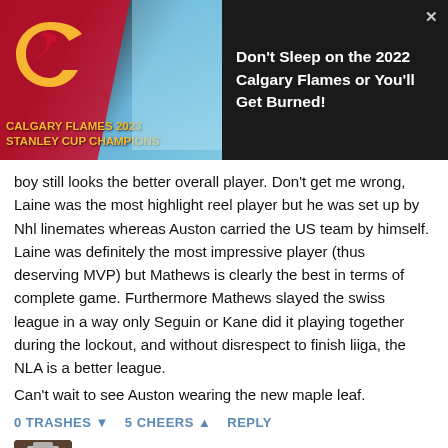[Figure (screenshot): Calgary Flames 2023 Stanley Cup Champions banner ad with woman and team logo, plus title 'Don't Sleep on the 2022 Calgary Flames or You'll Get Burned!']
boy still looks the better overall player. Don't get me wrong, Laine was the most highlight reel player but he was set up by Nhl linemates whereas Auston carried the US team by himself. Laine was definitely the most impressive player (thus deserving MVP) but Mathews is clearly the best in terms of complete game. Furthermore Mathews slayed the swiss league in a way only Seguin or Kane did it playing together during the lockout, and without disrespect to finish liiga, the NLA is a better league.
Can't wait to see Auston wearing the new maple leaf.
0 TRASHES ▼  5 CHEERS ▲  REPLY
Gary Empey
6 YEARS AGO